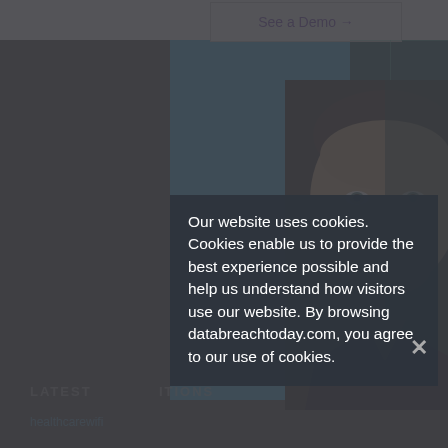[Figure (screenshot): Website screenshot showing a blue banner with 'See a Demo →' button, a teal grid overlay on the right, and a man's face photo in the background.]
Our website uses cookies. Cookies enable us to provide the best experience possible and help us understand how visitors use our website. By browsing databreachtoday.com, you agree to our use of cookies.
LATEST                         ITIONS
healthcarewifi